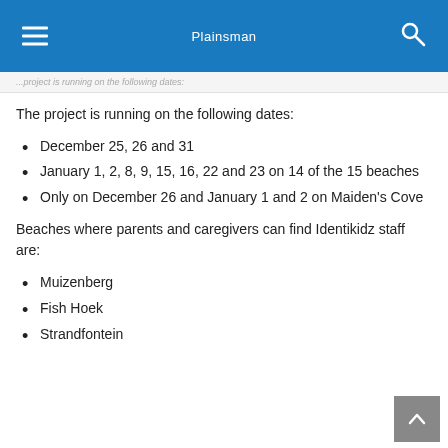Plainsman
The project is running on the following dates:
December 25, 26 and 31
January 1, 2, 8, 9, 15, 16, 22 and 23 on 14 of the 15 beaches
Only on December 26 and January 1 and 2 on Maiden's Cove
Beaches where parents and caregivers can find Identikidz staff are:
Muizenberg
Fish Hoek
Strandfontein